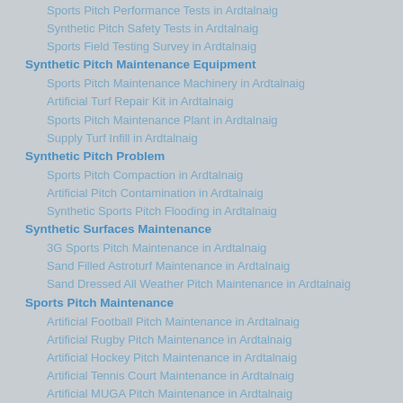Sports Pitch Performance Tests in Ardtalnaig
Synthetic Pitch Safety Tests in Ardtalnaig
Sports Field Testing Survey in Ardtalnaig
Synthetic Pitch Maintenance Equipment
Sports Pitch Maintenance Machinery in Ardtalnaig
Artificial Turf Repair Kit in Ardtalnaig
Sports Pitch Maintenance Plant in Ardtalnaig
Supply Turf Infill in Ardtalnaig
Synthetic Pitch Problem
Sports Pitch Compaction in Ardtalnaig
Artificial Pitch Contamination in Ardtalnaig
Synthetic Sports Pitch Flooding in Ardtalnaig
Synthetic Surfaces Maintenance
3G Sports Pitch Maintenance in Ardtalnaig
Sand Filled Astroturf Maintenance in Ardtalnaig
Sand Dressed All Weather Pitch Maintenance in Ardtalnaig
Sports Pitch Maintenance
Artificial Football Pitch Maintenance in Ardtalnaig
Artificial Rugby Pitch Maintenance in Ardtalnaig
Artificial Hockey Pitch Maintenance in Ardtalnaig
Artificial Tennis Court Maintenance in Ardtalnaig
Artificial MUGA Pitch Maintenance in Ardtalnaig
By © Synthetic Turf Pitch Maintenance